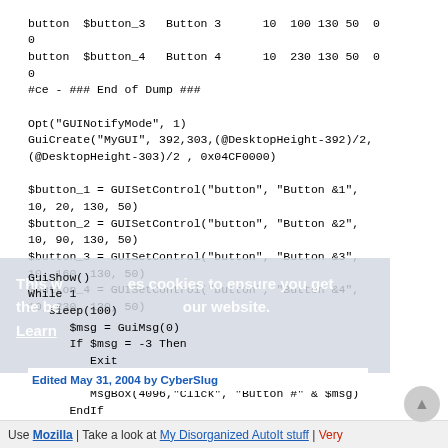button  $button_3   Button 3      10  100 130 50  0
0
button  $button_4   Button 4      10  230 130 50  0
0
#ce - ### End of Dump ###

Opt("GUINotifyMode", 1)
GuiCreate("MyGUI", 392,303,(@DesktopHeight-392)/2,
(@DesktopHeight-303)/2 , 0x04CF0000)

$button_1 = GUISetControl("button", "Button &1",
10, 20, 130, 50)
$button_2 = GUISetControl("button", "Button &2",
10, 90, 130, 50)
$button_3 = GUISetControl("button", "Button &3",
10, 160, 130, 50)
$button_4 = GUISetControl("button", "Button &4",
10, 230, 130, 50)
GuiShow()
While 1
   sleep(100)
      $msg = GuiMsg(0)
      If $msg = -3 Then
         Exit
      ElseIf $msg > 0 Then
         MsgBox(4096,"Click", "Button #" & $msg)
      EndIf
This website uses cookies to ensure you get the best experience on our website.
Learn more
Edited May 31, 2004 by CyberSlug
Use Mozilla | Take a look at My Disorganized AutoIt stuff | Very